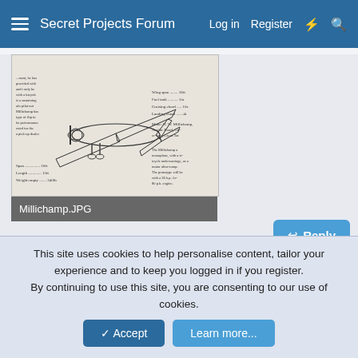Secret Projects Forum  Log in  Register
[Figure (illustration): Scanned page from a reference book showing a top-down/perspective line drawing of a small monoplane aircraft (Millichamp) with technical specifications text alongside it.]
Millichamp.JPG
Reply
Tophe
This site uses cookies to help personalise content, tailor your experience and to keep you logged in if you register.
By continuing to use this site, you are consenting to our use of cookies.
Accept  Learn more...